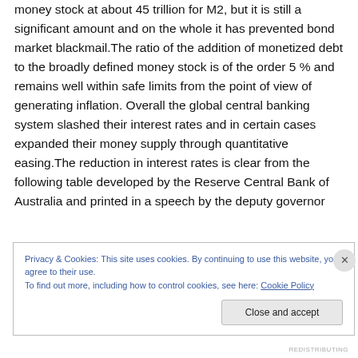money stock at about 45 trillion for M2, but it is still a significant amount and on the whole it has prevented bond market blackmail.The ratio of the addition of monetized debt to the broadly defined money stock is of the order 5 % and remains well within safe limits from the point of view of generating inflation. Overall the global central banking system slashed their interest rates and in certain cases expanded their money supply through quantitative easing.The reduction in interest rates is clear from the following table developed by the Reserve Central Bank of Australia and printed in a speech by the deputy governor
Privacy & Cookies: This site uses cookies. By continuing to use this website, you agree to their use.
To find out more, including how to control cookies, see here: Cookie Policy